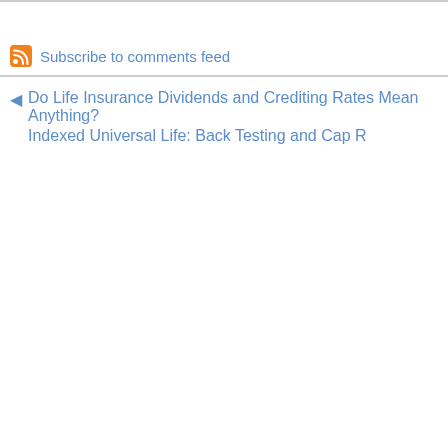Subscribe to comments feed
Do Life Insurance Dividends and Crediting Rates Mean Anything?
Indexed Universal Life: Back Testing and Cap R